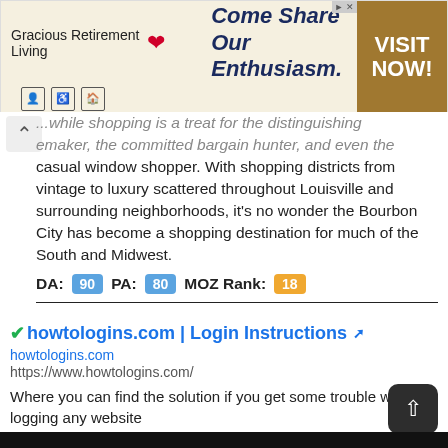[Figure (other): Advertisement banner for Gracious Retirement Living with tagline 'Come Share Our Enthusiasm.' and a 'VISIT NOW!' call-to-action button in gold/brown.]
...while shopping is a treat for the distinguishing homemaker, the committed bargain hunter, and even the casual window shopper. With shopping districts from vintage to luxury scattered throughout Louisville and surrounding neighborhoods, it's no wonder the Bourbon City has become a shopping destination for much of the South and Midwest.
DA: 90  PA: 80  MOZ Rank: 18
✓howtologins.com | Login Instructions ↗
howtologins.com
https://www.howtologins.com/
Where you can find the solution if you get some trouble when logging any website
DA: 38  PA: 86  MOZ Rank: 57